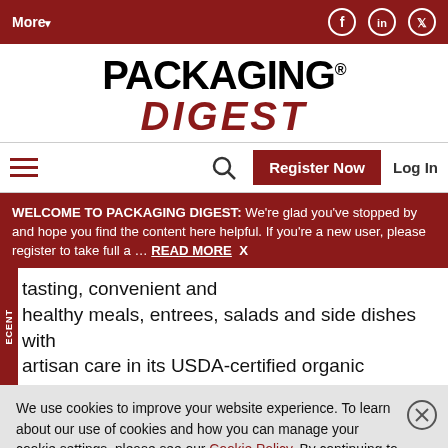More▾  [social icons: Facebook, LinkedIn, Twitter]
[Figure (logo): Packaging Digest logo — PACKAGING in black bold, DIGEST in dark red bold italic, with registered trademark symbol]
Hamburger menu | Search icon | Register Now | Log In
WELCOME TO PACKAGING DIGEST: We're glad you've stopped by and hope you find the content here helpful. If you're a new user, please register to take full a … READ MORE  X
tasting, convenient and healthy meals, entrees, salads and side dishes with artisan care in its USDA-certified organic
We use cookies to improve your website experience. To learn about our use of cookies and how you can manage your cookie settings, please see our Cookie Policy. By continuing to use the website, you consent to our use of cookies.